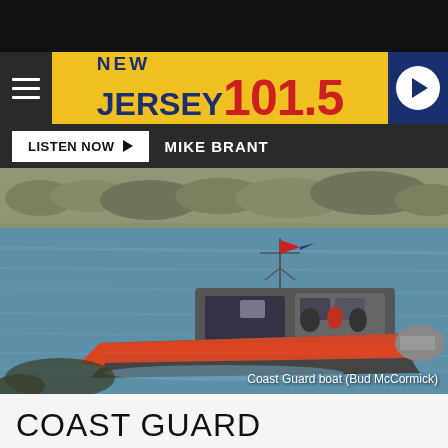[Figure (logo): New Jersey 101.5 radio station logo on yellow background with hamburger menu and play button]
LISTEN NOW   MIKE BRANT
[Figure (photo): Coast Guard boat on water with rocky shoreline in background, orange hull with US flag on mast]
Coast Guard boat (Bud McCormick)
COAST GUARD RESCUES MAN IN